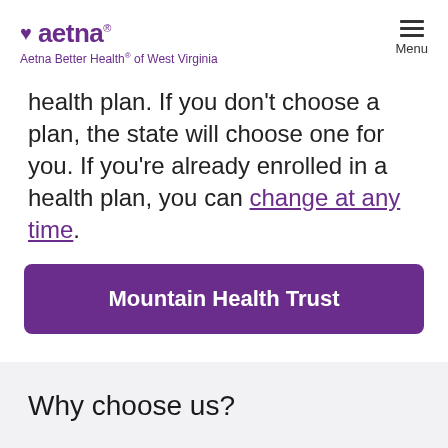aetna® Aetna Better Health® of West Virginia
health plan. If you don't choose a plan, the state will choose one for you. If you're already enrolled in a health plan, you can change at any time.
Mountain Health Trust
Why choose us?